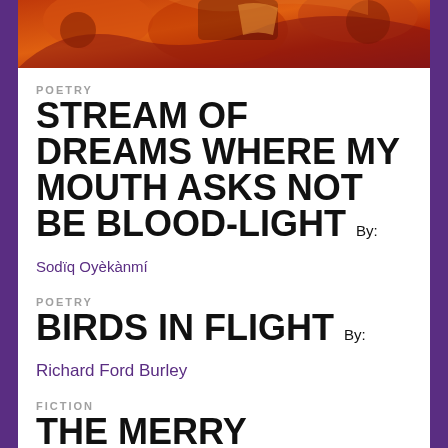[Figure (illustration): Colorful artistic illustration at the top of the page showing figures with warm orange and red tones]
POETRY
STREAM OF DREAMS WHERE MY MOUTH ASKS NOT BE BLOOD-LIGHT By: Sodiq Oyèkànmí
POETRY
BIRDS IN FLIGHT By: Richard Ford Burley
FICTION
THE MERRY ABORTION: OR THE